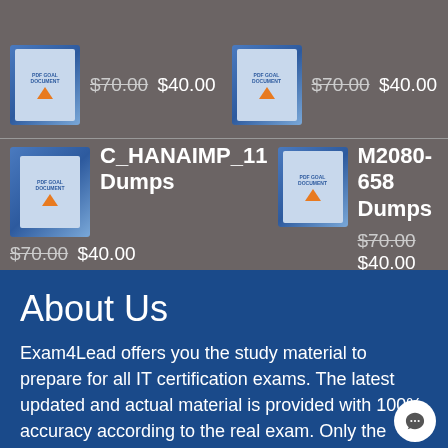[Figure (illustration): Product box image for exam dumps (top-left, partial)]
$70.00 $40.00
[Figure (illustration): Product box image for exam dumps (top-right, partial)]
$70.00 $40.00
[Figure (illustration): Product box image for C_HANAIMP_11 Dumps]
C_HANAIMP_11 Dumps
$70.00 $40.00
[Figure (illustration): Product box image for M2080-658 Dumps]
M2080-658 Dumps
$70.00 $40.00
About Us
Exam4Lead offers you the study material to prepare for all IT certification exams. The latest updated and actual material is provided with 100% accuracy according to the real exam. Only the certified professionals and experts of the subject prepare the material to